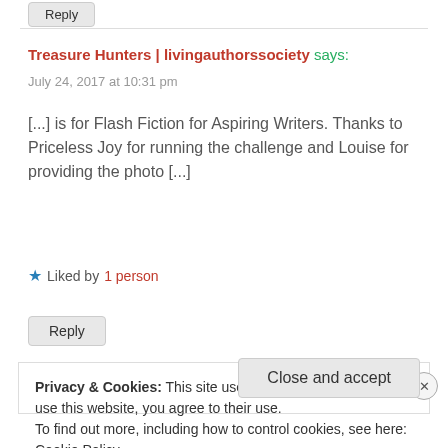Reply (button at top)
Treasure Hunters | livingauthorssociety says:
July 24, 2017 at 10:31 pm
[...] is for Flash Fiction for Aspiring Writers. Thanks to Priceless Joy for running the challenge and Louise for providing the photo [...]
★ Liked by 1 person
Reply (button)
Privacy & Cookies: This site uses cookies. By continuing to use this website, you agree to their use.
To find out more, including how to control cookies, see here: Cookie Policy
Close and accept